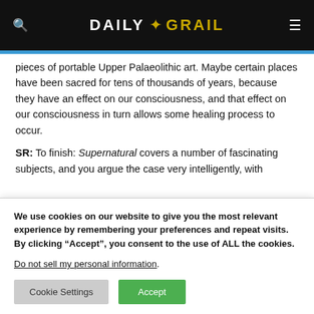DAILY GRAIL
pieces of portable Upper Palaeolithic art. Maybe certain places have been sacred for tens of thousands of years, because they have an effect on our consciousness, and that effect on our consciousness in turn allows some healing process to occur.
SR: To finish: Supernatural covers a number of fascinating subjects, and you argue the case very intelligently, with
We use cookies on our website to give you the most relevant experience by remembering your preferences and repeat visits. By clicking “Accept”, you consent to the use of ALL the cookies. Do not sell my personal information.